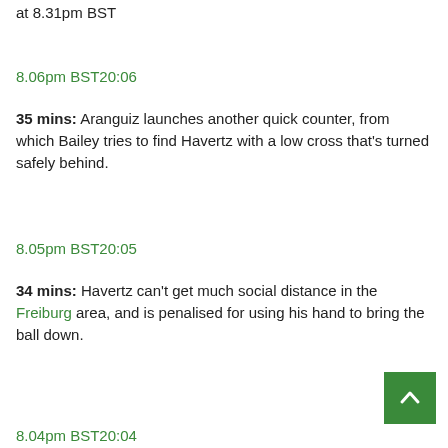at 8.31pm BST
8.06pm BST20:06
35 mins: Aranguiz launches another quick counter, from which Bailey tries to find Havertz with a low cross that's turned safely behind.
8.05pm BST20:05
34 mins: Havertz can't get much social distance in the Freiburg area, and is penalised for using his hand to bring the ball down.
8.04pm BST20:04